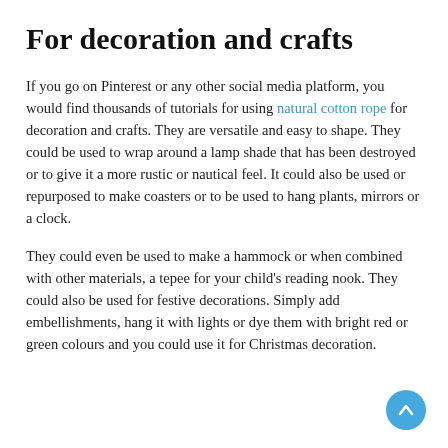For decoration and crafts
If you go on Pinterest or any other social media platform, you would find thousands of tutorials for using natural cotton rope for decoration and crafts. They are versatile and easy to shape. They could be used to wrap around a lamp shade that has been destroyed or to give it a more rustic or nautical feel. It could also be used or repurposed to make coasters or to be used to hang plants, mirrors or a clock.
They could even be used to make a hammock or when combined with other materials, a tepee for your child’s reading nook. They could also be used for festive decorations. Simply add embellishments, hang it with lights or dye them with bright red or green colours and you could use it for Christmas decoration.